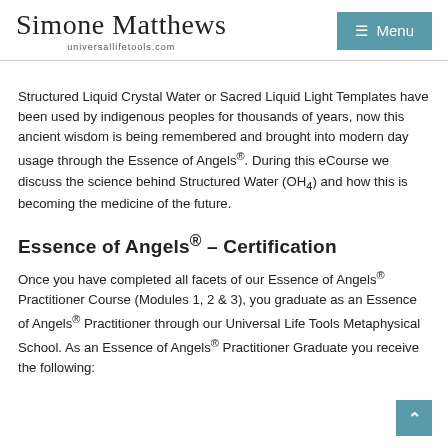Simone Matthews universallifetools.com
Structured Liquid Crystal Water or Sacred Liquid Light Templates have been used by indigenous peoples for thousands of years, now this ancient wisdom is being remembered and brought into modern day usage through the Essence of Angels®.  During this eCourse we discuss the science behind Structured Water (OH4) and how this is becoming the medicine of the future.
Essence of Angels® – Certification
Once you have completed all facets of our Essence of Angels® Practitioner Course (Modules 1, 2 & 3), you graduate as an Essence of Angels® Practitioner through our Universal Life Tools Metaphysical School.  As an Essence of Angels® Practitioner Graduate you receive the following: